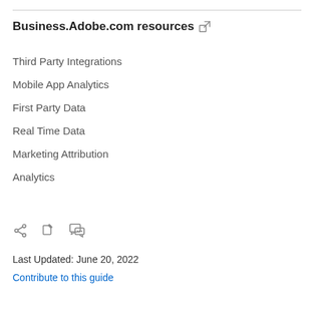Business.Adobe.com resources
Third Party Integrations
Mobile App Analytics
First Party Data
Real Time Data
Marketing Attribution
Analytics
Last Updated: June 20, 2022
Contribute to this guide